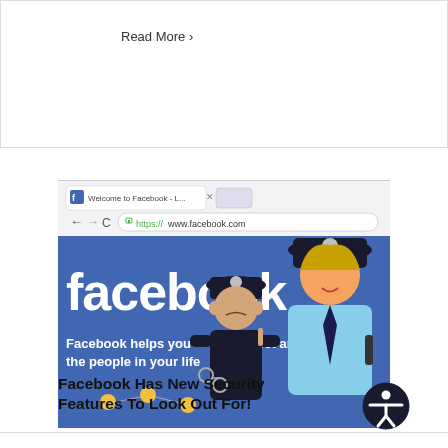Read More >
[Figure (photo): A Facebook webpage screenshot showing the Facebook logo and 'facebook helps you connect and share with the people in your life' text, overlaid with cartoon police officer figurines (one male, one female) against the blue Facebook background. The browser address bar shows https://www.facebook.com]
Facebook Has New Security Features To Look Out For!